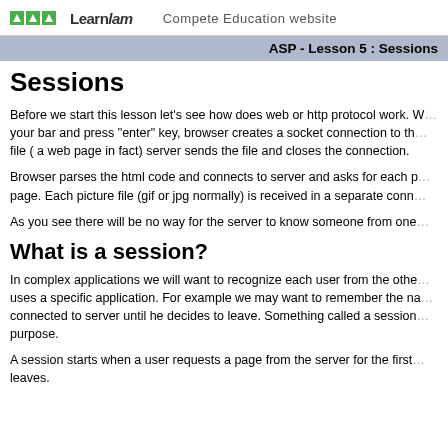LearnJam  Compete Education website
ASP - Lesson 5 : Sessions
Sessions
Before we start this lesson let's see how does web or http protocol work. When you type an address in your bar and press "enter" key, browser creates a socket connection to the server and asks for a specific file ( a web page in fact) server sends the file and closes the connection.
Browser parses the html code and connects to server and asks for each picture file in the page. Each picture file (gif or jpg normally) is received in a separate connection.
As you see there will be no way for the server to know someone from one request to the other.
What is a session?
In complex applications we will want to recognize each user from the other while he uses a specific application. For example we may want to remember the name of the user and keep it while he is connected to server until he decides to leave. Something called a session object is designed for this purpose.
A session starts when a user requests a page from the server for the first time and ends when he leaves.